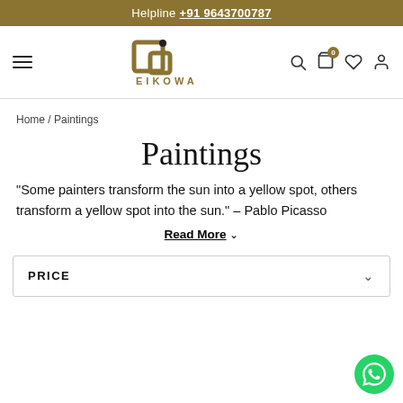Helpline +91 9643700787
[Figure (logo): EIKOWA logo with stylized square icon and dot above]
Home / Paintings
Paintings
“Some painters transform the sun into a yellow spot, others transform a yellow spot into the sun.” – Pablo Picasso
Read More ∨
PRICE